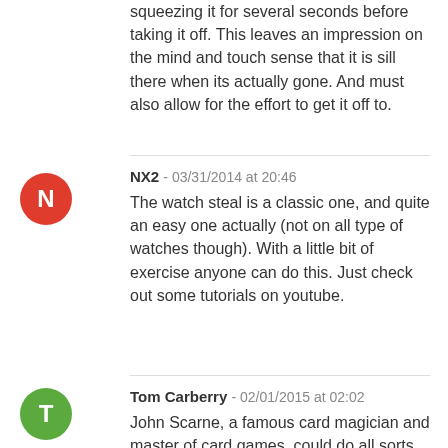squeezing it for several seconds before taking it off. This leaves an impression on the mind and touch sense that it is sill there when its actually gone. And must also allow for the effort to get it off to.
NX2 - 03/31/2014 at 20:46
The watch steal is a classic one, and quite an easy one actually (not on all type of watches though). With a little bit of exercise anyone can do this. Just check out some tutorials on youtube.
Tom Carberry - 02/01/2015 at 02:02
John Scarne, a famous card magician and master of card games, could do all sorts of magical things with his hands that